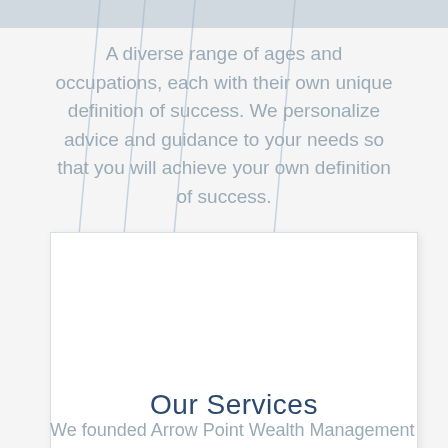A diverse range of ages and occupations, each with their own unique definition of success. We personalize advice and guidance to your needs so that you will achieve your own definition of success.
Our Services
We founded Arrow Point Wealth Management